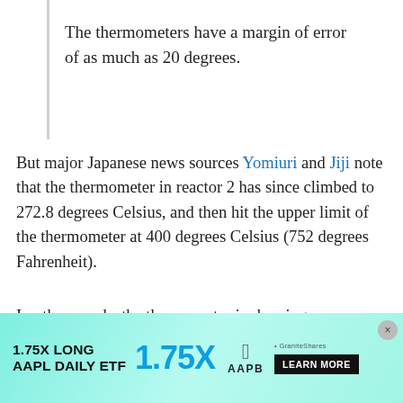The thermometers have a margin of error of as much as 20 degrees.
But major Japanese news sources Yomiuri and Jiji note that the thermometer in reactor 2 has since climbed to 272.8 degrees Celsius, and then hit the upper limit of the thermometer at 400 degrees Celsius (752 degrees Fahrenheit).
In other words, the thermometer is showing temperatures more than 4 times higher than the 100 degree Celsius limit for cold shutdown.
Tepco claims that such a high reading means that the thermometer must be broken, and is main[taining that the reactors are in cold shut]down base[d on readings from other ]thermometers. Of course, the fuel is moving
[Figure (advertisement): 1.75X LONG AAPL DAILY ETF advertisement with teal gradient background, showing 1.75X in large blue text, Apple logo, AAPB ticker, GraniteShares branding, and LEARN MORE button]